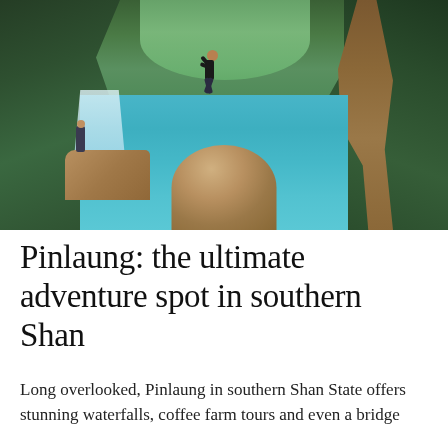[Figure (photo): A person leaping from a large rock into a turquoise river pool in a lush jungle setting, with a waterfall on the left and dense foliage on both sides. Trees and roots frame the scene on the right.]
Pinlaung: the ultimate adventure spot in southern Shan
Long overlooked, Pinlaung in southern Shan State offers stunning waterfalls, coffee farm tours and even a bridge